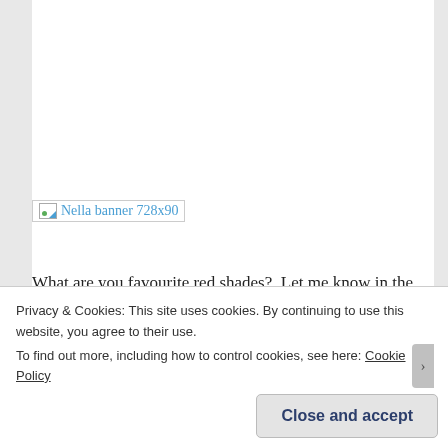[Figure (other): Broken image placeholder link showing 'Nella banner 728x90' as alt text, displayed as a linked broken image icon]
What are you favourite red shades?  Let me know in the comments.
Don't forget that you can follow this blog via Bloglovin', either by clicking the icon to the right or by clicking here. I can also be found on Twitter @BakingNails and now I can also be found on Instagram here!
*Disclosure: This product was sent to me for review but
Privacy & Cookies: This site uses cookies. By continuing to use this website, you agree to their use.
To find out more, including how to control cookies, see here: Cookie Policy
Close and accept